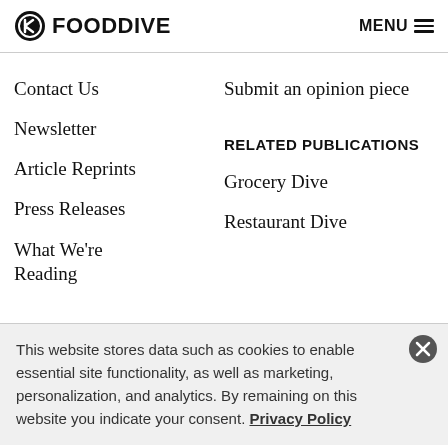FOOD DIVE  MENU
Contact Us
Submit an opinion piece
Newsletter
Article Reprints
RELATED PUBLICATIONS
Press Releases
Grocery Dive
What We're Reading
Restaurant Dive
This website stores data such as cookies to enable essential site functionality, as well as marketing, personalization, and analytics. By remaining on this website you indicate your consent. Privacy Policy